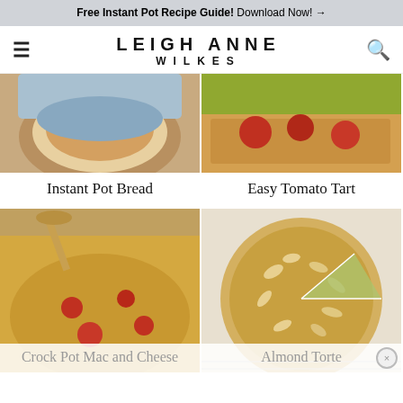Free Instant Pot Recipe Guide! Download Now! →
LEIGH ANNE WILKES
[Figure (photo): Photo of Instant Pot Bread in a bowl]
Instant Pot Bread
[Figure (photo): Photo of Easy Tomato Tart]
Easy Tomato Tart
[Figure (photo): Photo of Crock Pot Mac and Cheese being served with a spoon]
Crock Pot Mac and Cheese
[Figure (photo): Photo of Almond Torte with slices on a cooling rack]
Almond Torte